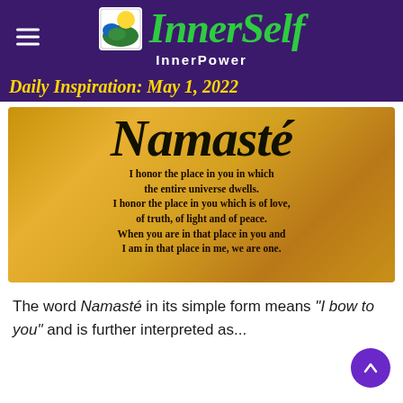InnerSelf InnerPower
Daily Inspiration: May 1, 2022
[Figure (illustration): Namaste inspirational quote image on golden parchment background. Large cursive 'Namasté' title followed by the text: 'I honor the place in you in which the entire universe dwells. I honor the place in you which is of love, of truth, of light and of peace. When you are in that place in you and I am in that place in me, we are one.']
The word Namasté in its simple form means "I bow to you" and is further interpreted as...